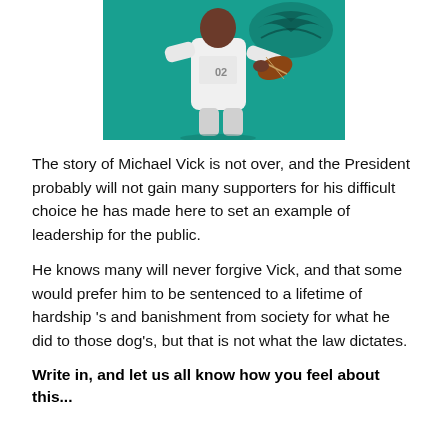[Figure (photo): Photo of Michael Vick in a white Philadelphia Eagles jersey holding a football, with the Eagles logo visible in the teal background behind him.]
The story of Michael Vick is not over, and the President probably will not gain many supporters for his difficult choice he has made here to set an example of leadership for the public.
He knows many will never forgive Vick, and that some would prefer him to be sentenced to a lifetime of hardship 's and banishment from society for what he  did to those dog's, but that is not what the law dictates.
Write in, and let us all know how you feel about this...